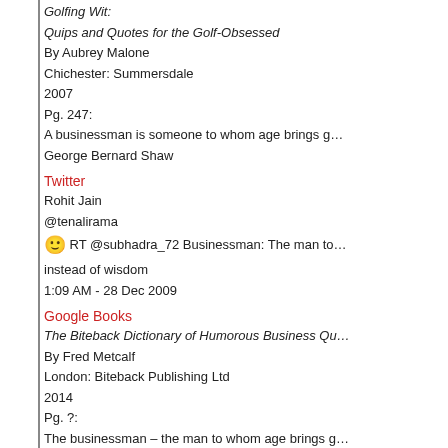Golfing Wit:
Quips and Quotes for the Golf-Obsessed
By Aubrey Malone
Chichester: Summersdale
2007
Pg. 247:
A businessman is someone to whom age brings g…
George Bernard Shaw
Twitter
Rohit Jain
@tenalirama
🙂 RT @subhadra_72 Businessman: The man to… instead of wisdom
1:09 AM - 28 Dec 2009
Google Books
The Biteback Dictionary of Humorous Business Qu…
By Fred Metcalf
London: Biteback Publishing Ltd
2014
Pg. ?:
The businessman – the man to whom age brings g…
George Bernard Shaw, Irish playwright